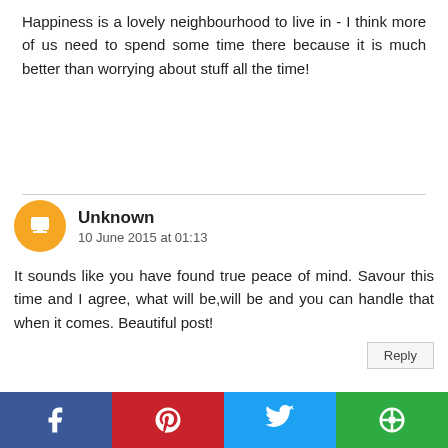Happiness is a lovely neighbourhood to live in - I think more of us need to spend some time there because it is much better than worrying about stuff all the time!
Unknown
10 June 2015 at 01:13
It sounds like you have found true peace of mind. Savour this time and I agree, what will be,will be and you can handle that when it comes. Beautiful post!
Reply
Leanne
10 June 2015 at 09:07